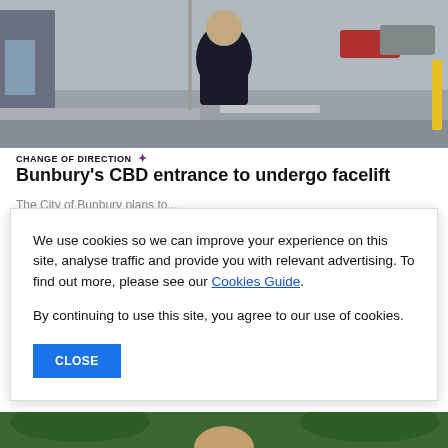[Figure (photo): Man in dark jacket standing on a street with cars and buildings in background]
CHANGE OF DIRECTION ✦
Bunbury's CBD entrance to undergo facelift
The City of Bunbury plans to...
We use cookies so we can improve your experience on this site, analyse traffic and provide you with relevant advertising. To find out more, please see our Cookies Guide.

By continuing to use this site, you agree to our use of cookies.
CLOSE
[Figure (photo): Partially visible photo at bottom of page]